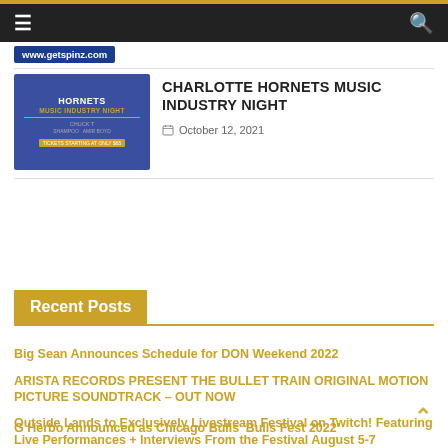≡  🔍  www.getspinz.com
[Figure (photo): Charlotte Hornets Music Industry Night promotional thumbnail with blue background showing performer photos and event text]
CHARLOTTE HORNETS MUSIC INDUSTRY NIGHT
October 12, 2021
Recent Posts
Big Sean Announces Schedule for DON Weekend 2022
ARISTA RECORDS PRESENT THE BULLET TRAIN ORIGINAL MOTION PICTURE SOUNDTRACK – OUT NOW
Outside Lands to Exclusively Livestream Festival on Twitch! Featuring Live Performances + Interviews From the Festival August 5-7
G Herbo Announced as Chicago Bulls 'Bulls Fest 2022'